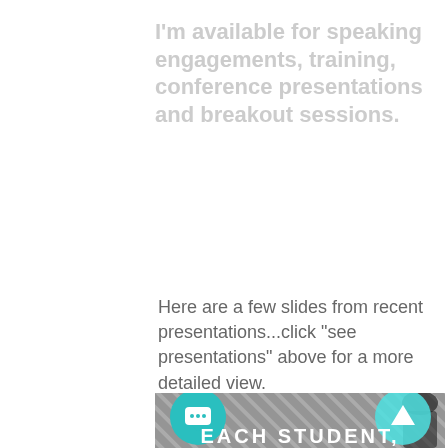I'm available for speaking engagements, training, conference presentations and breakout sessions.
Here are a few slides from recent presentations...click "see presentations" above for a more detailed view.
[Figure (photo): Presentation slide image with diagonal stripe pattern overlay, teal chat bubble icon on the left, teal up-arrow button on the right, and bold white text 'EACH STUDENT,' at the bottom. A silhouette of a person wearing a graduation cap is partially visible.]